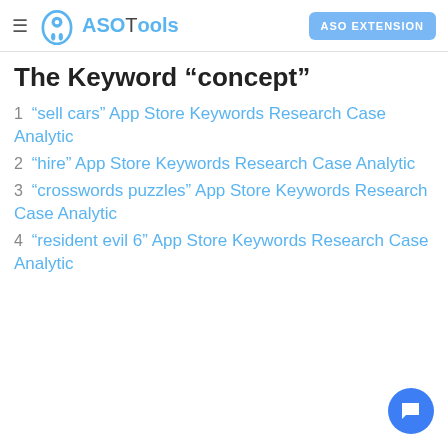ASOTools — ASO EXTENSION
The Keyword “concept”
1  “sell cars” App Store Keywords Research Case Analytic
2  “hire” App Store Keywords Research Case Analytic
3  “crosswords puzzles” App Store Keywords Research Case Analytic
4  “resident evil 6” App Store Keywords Research Case Analytic